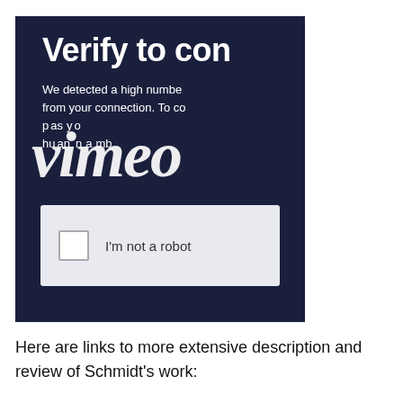[Figure (screenshot): Screenshot of a Vimeo CAPTCHA verification page with dark navy background. Shows 'Verify to con[tinue]' heading, text 'We detected a high numbe[r of requests] from your connection. To co[ntinue,] p[lea]s[e confirm you are a] hu[man and] n[ot a robot]', overlaid with large italic 'vimeo' watermark text, and a reCAPTCHA checkbox widget with 'I'm not a robot' label.]
Here are links to more extensive description and review of Schmidt's work: